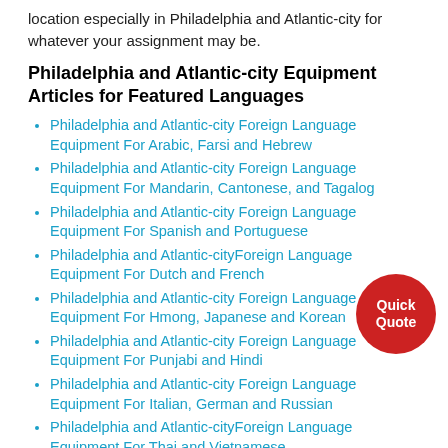location especially in Philadelphia and Atlantic-city for whatever your assignment may be.
Philadelphia and Atlantic-city Equipment Articles for Featured Languages
Philadelphia and Atlantic-city Foreign Language Equipment For Arabic, Farsi and Hebrew
Philadelphia and Atlantic-city Foreign Language Equipment For Mandarin, Cantonese, and Tagalog
Philadelphia and Atlantic-city Foreign Language Equipment For Spanish and Portuguese
Philadelphia and Atlantic-cityForeign Language Equipment For Dutch and French
Philadelphia and Atlantic-city Foreign Language Equipment For Hmong, Japanese and Korean
Philadelphia and Atlantic-city Foreign Language Equipment For Punjabi and Hindi
Philadelphia and Atlantic-city Foreign Language Equipment For Italian, German and Russian
Philadelphia and Atlantic-cityForeign Language Equipment For Thai and Vietnamese
[Figure (other): Red oval button with white text 'Quick Quote']